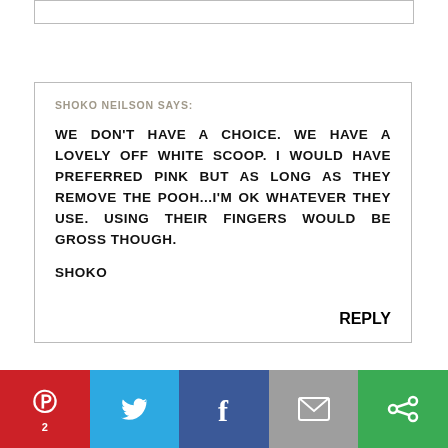SHOKO NEILSON SAYS:
WE DON'T HAVE A CHOICE. WE HAVE A LOVELY OFF WHITE SCOOP. I WOULD HAVE PREFERRED PINK BUT AS LONG AS THEY REMOVE THE POOH...I'M OK WHATEVER THEY USE. USING THEIR FINGERS WOULD BE GROSS THOUGH.

SHOKO
REPLY